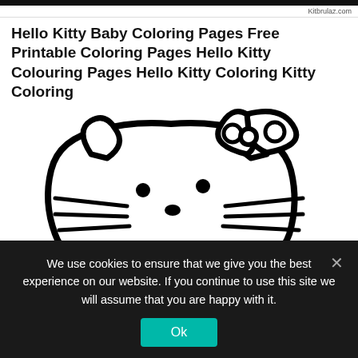Kitbrulaz.com
Hello Kitty Baby Coloring Pages Free Printable Coloring Pages Hello Kitty Colouring Pages Hello Kitty Coloring Kitty Coloring
[Figure (illustration): Hello Kitty coloring page line drawing showing Hello Kitty's face and upper body with bow on head, whiskers, and simple facial features in thick black outline style on white background.]
We use cookies to ensure that we give you the best experience on our website. If you continue to use this site we will assume that you are happy with it.